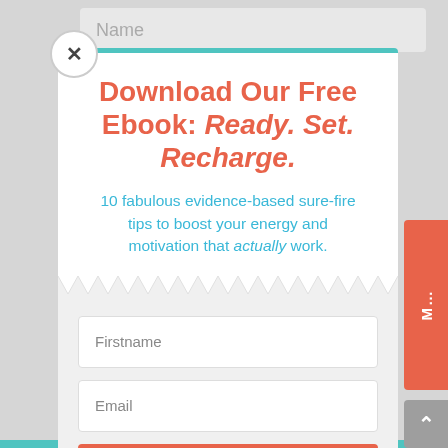Name
Download Our Free Ebook: Ready. Set. Recharge.
10 fabulous evidence-based sure-fire tips to boost your energy and motivation that actually work.
Firstname
Email
Download >